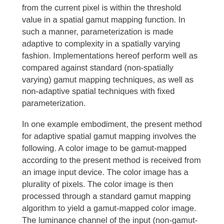from the current pixel is within the threshold value in a spatial gamut mapping function. In such a manner, parameterization is made adaptive to complexity in a spatially varying fashion. Implementations hereof perform well as compared against standard (non-spatially varying) gamut mapping techniques, as well as non-adaptive spatial techniques with fixed parameterization.
In one example embodiment, the present method for adaptive spatial gamut mapping involves the following. A color image to be gamut-mapped according to the present method is received from an image input device. The color image has a plurality of pixels. The color image is then processed through a standard gamut mapping algorithm to yield a gamut-mapped color image. The luminance channel of the input (non-gamut-mapped) color image is used to subtract the corresponding channel of the gamut-mapped color image to yield a difference image. The difference image potentially carries crucial spatial information that could be lost in the standard gamut mapping step. A local operator is selected for this difference image. The local operator computes a measure of complexity for each pixel based on pixel values in a neighborhood of pixels surrounding that pixel. Various local operators